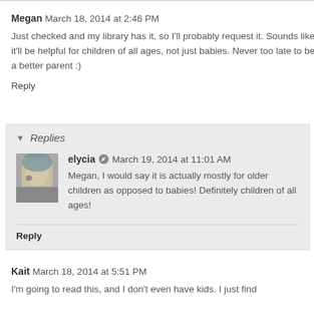Megan  March 18, 2014 at 2:46 PM
Just checked and my library has it, so I'll probably request it. Sounds like it'll be helpful for children of all ages, not just babies. Never too late to be a better parent :)
Reply
Replies
[Figure (photo): User avatar photo of elycia - person with glasses and blue-tinted hair]
elycia  March 19, 2014 at 11:01 AM
Megan, I would say it is actually mostly for older children as opposed to babies! Definitely children of all ages!
Reply
Kait  March 18, 2014 at 5:51 PM
I'm going to read this, and I don't even have kids. I just find